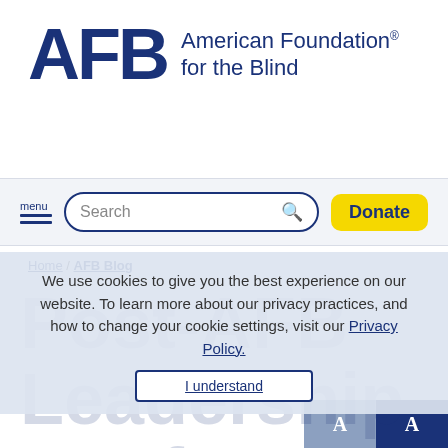[Figure (logo): AFB - American Foundation for the Blind logo with large bold AFB letters and text 'American Foundation® for the Blind']
menu [search bar] Donate
Home / AFB Blog
We use cookies to give you the best experience on our website. To learn more about our privacy practices, and how to change your cookie settings, visit our Privacy Policy.
I understand
Post-AFB Leadership Conference